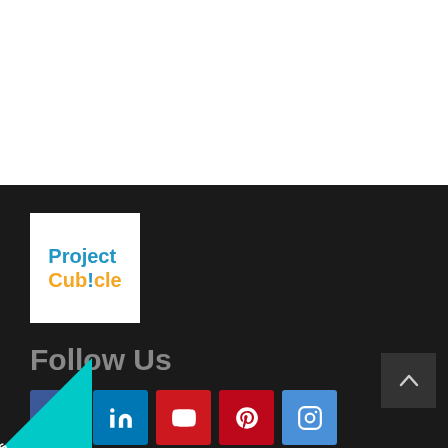[Figure (logo): Project Cubicle logo — white background with 'Project' in blue and 'Cub!cle' in orange (exclamation mark in blue)]
Follow Us
[Figure (infographic): Row of social media icon buttons: Facebook (dark blue), LinkedIn (blue), YouTube (red), Pinterest (dark red), Instagram (blue)]
[Figure (other): Teal diagonal 'Courses' badge in bottom-left corner]
[Figure (other): Back to top chevron button in dark gray, bottom-right]